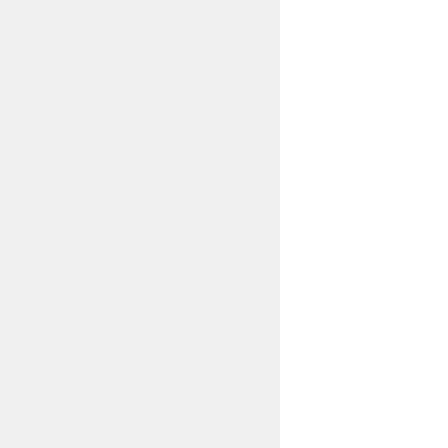| Quintile |
| --- |
| Highest Quintile |
| Fourth Quintile |
| Middle Quintile |
| Second Quintile |
| Lowest Quintile |
| Ventura County |
| --- |
| Highest Quintile |
| Fourth Quintile |
| Middle Quintile |
| Second Quintile |
| Lowest Quintile |
| Yolo County |
| --- |